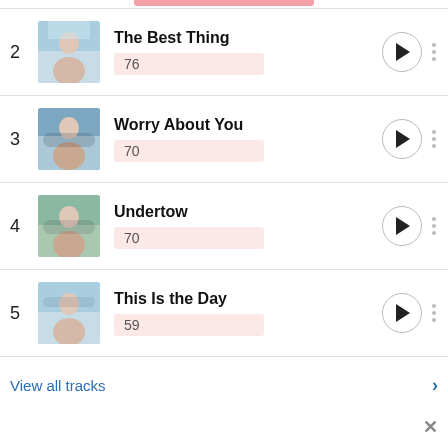2 – The Best Thing, score: 76
3 – Worry About You, score: 70
4 – Undertow, score: 70
5 – This Is the Day, score: 59
View all tracks